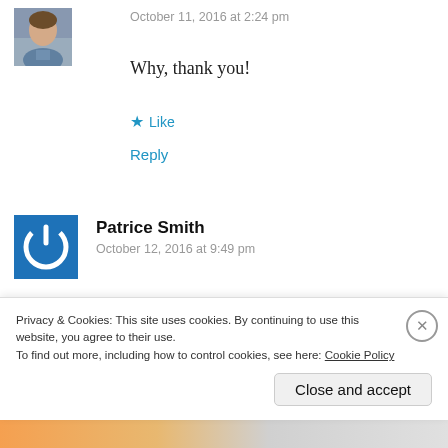[Figure (photo): Small circular/square profile photo of a woman in a blue shirt]
October 11, 2016 at 2:24 pm
Why, thank you!
★ Like
Reply
[Figure (logo): Blue square with white power/on button icon — default WordPress avatar for Patrice Smith]
Patrice Smith
October 12, 2016 at 9:49 pm
LOVE IT!!! I can't wait to see it in person. I am on day two in painting my front room. I didn't realize how big it is…
Privacy & Cookies: This site uses cookies. By continuing to use this website, you agree to their use.
To find out more, including how to control cookies, see here: Cookie Policy
Close and accept